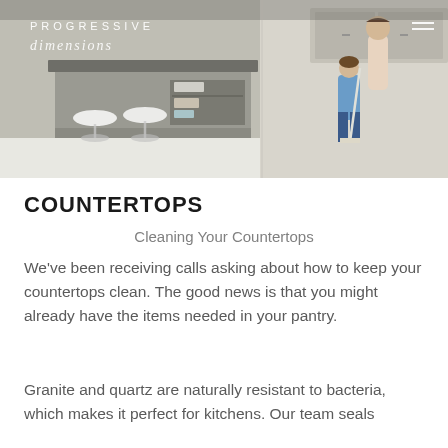[Figure (photo): Hero banner image showing a kitchen with a gray island countertop, white bar stools on the left side, open shelving with dishes, and a child sweeping on the right. Progressive Dimensions logo overlaid on upper left.]
COUNTERTOPS
Cleaning Your Countertops
We've been receiving calls asking about how to keep your countertops clean. The good news is that you might already have the items needed in your pantry.
Granite and quartz are naturally resistant to bacteria, which makes it perfect for kitchens. Our team seals